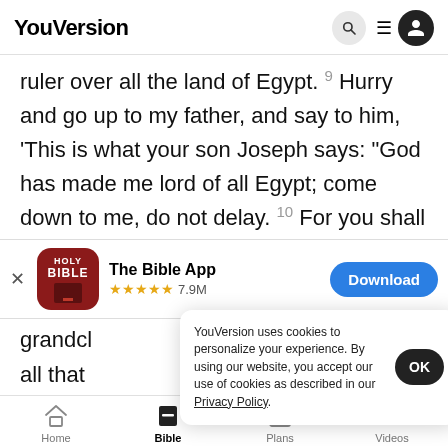YouVersion
ruler over all the land of Egypt. 9 Hurry and go up to my father, and say to him, ‘This is what your son Joseph says: “God has made me lord of all Egypt; come down to me, do not delay. 10 For you shall
[Figure (screenshot): App download banner for The Bible App showing app icon, 5 star rating with 7.9M reviews, and a Download button]
grandcl… all that…
YouVersion uses cookies to personalize your experience. By using our website, you accept our use of cookies as described in our Privacy Policy.
Home  Bible  Plans  Videos